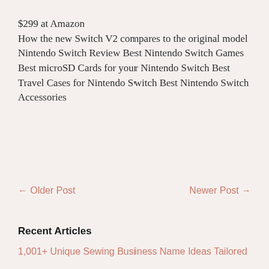$299 at Amazon How the new Switch V2 compares to the original model Nintendo Switch Review Best Nintendo Switch Games Best microSD Cards for your Nintendo Switch Best Travel Cases for Nintendo Switch Best Nintendo Switch Accessories
← Older Post    Newer Post →
Recent Articles
1,001+ Unique Sewing Business Name Ideas Tailored